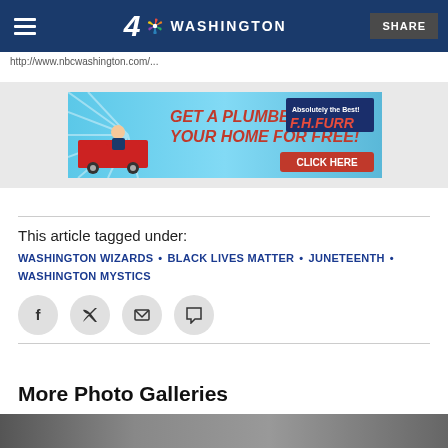NBC4 Washington
This article tagged under:
WASHINGTON WIZARDS · BLACK LIVES MATTER · JUNETEENTH · WASHINGTON MYSTICS
[Figure (other): Advertisement banner: GET A PLUMBER IN YOUR HOME FOR FREE! F.H.FURR - CLICK HERE]
More Photo Galleries
[Figure (photo): Photo gallery thumbnail image]